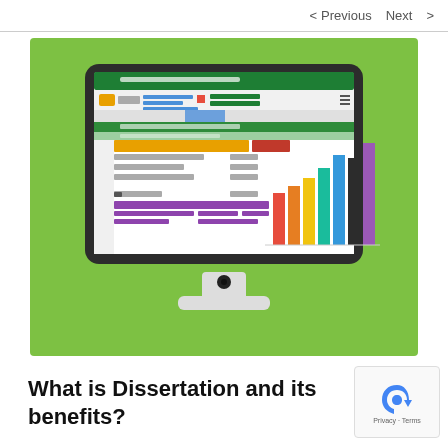< Previous   Next >
[Figure (illustration): Illustration of a desktop computer monitor displaying a spreadsheet application (resembling Microsoft Excel) with a bar chart showing multiple colored bars (red, orange, yellow, teal, blue, black, purple) on a green background. The monitor is white/gray with a stand.]
What is Dissertation and its benefits?